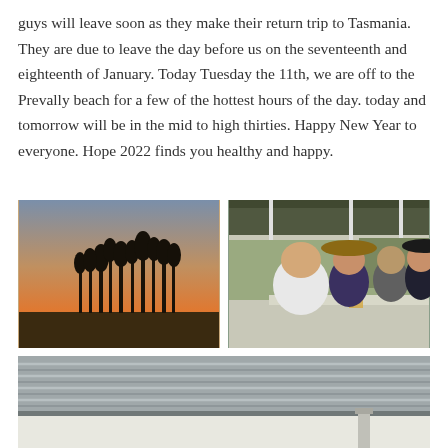guys will leave soon as they make their return trip to Tasmania. They are due to leave the day before us on the seventeenth and eighteenth of January. Today Tuesday the 11th, we are off to the Prevally beach for a few of the hottest hours of the day. today and tomorrow will be in the mid to high thirties. Happy New Year to everyone. Hope 2022 finds you healthy and happy.
[Figure (photo): Sunset photo showing silhouettes of tall trees against an orange and purple sky at dusk]
[Figure (photo): Group of four people sitting at an outdoor restaurant/bar table smiling at camera, one man in white t-shirt in foreground]
[Figure (photo): Close-up photo of a corrugated metal roof overhang against a light background]